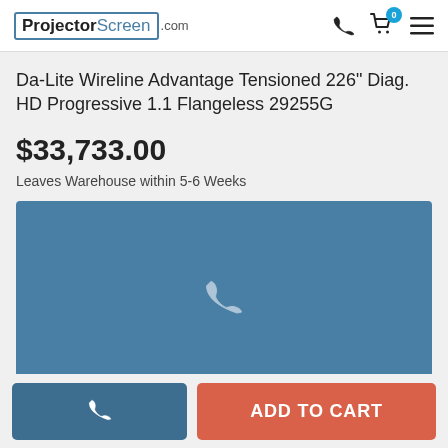ProjectorScreen.com
Da-Lite Wireline Advantage Tensioned 226" Diag. HD Progressive 1.1 Flangeless 29255G
$33,733.00
Leaves Warehouse within 5-6 Weeks
[Figure (photo): Product image placeholder with steel-blue background and a light phone icon]
ADD TO CART